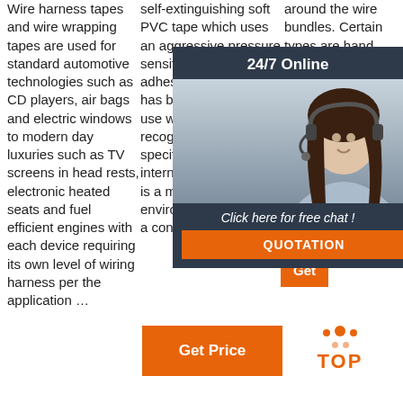Wire harness tapes and wire wrapping tapes are used for standard automotive technologies such as CD players, air bags and electric windows to modern day luxuries such as TV screens in head rests, electronic heated seats and fuel efficient engines with each device requiring its own level of wiring harness per the application …
self-extinguishing soft PVC tape which uses an aggressive pressure sensitive rubber-based adhesive system. It has been designed for use where a recognised specification or international standard is a must and where environmental safety is a concern.
around the wire bundles. Certain types are hand tearable, which is ideal for general bundling and positioning. A variety of heat and insulation combinations acrylic
[Figure (infographic): Chat widget showing '24/7 Online' header, a photo of a woman with a headset, and a 'Click here for free chat!' call to action with an orange QUOTATION button below.]
[Figure (infographic): Orange 'Get Price' button]
[Figure (infographic): Orange 'Get' button in third column]
[Figure (infographic): Orange TOP button with dot pattern above text]